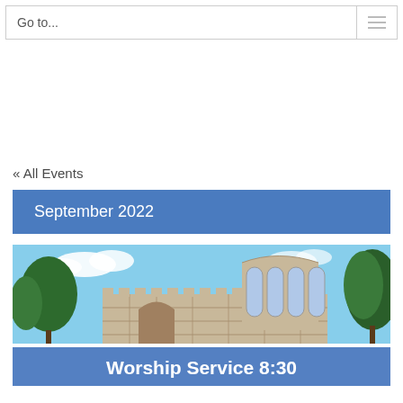Go to...
« All Events
September 2022
[Figure (photo): Exterior photo of a stone church building with large arched windows and surrounding trees against a blue sky]
Worship Service 8:30